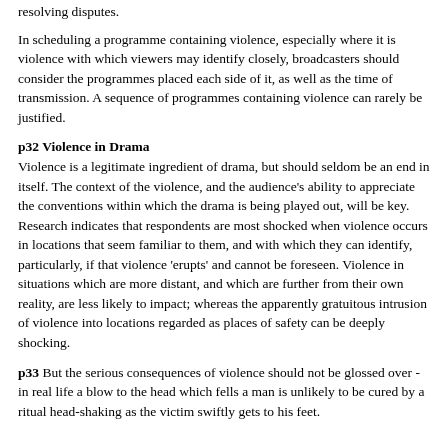resolving disputes.
In scheduling a programme containing violence, especially where it is violence with which viewers may identify closely, broadcasters should consider the programmes placed each side of it, as well as the time of transmission. A sequence of programmes containing violence can rarely be justified.
p32 Violence in Drama
Violence is a legitimate ingredient of drama, but should seldom be an end in itself. The context of the violence, and the audience's ability to appreciate the conventions within which the drama is being played out, will be key. Research indicates that respondents are most shocked when violence occurs in locations that seem familiar to them, and with which they can identify, particularly, if that violence 'erupts' and cannot be foreseen. Violence in situations which are more distant, and which are further from their own reality, are less likely to impact; whereas the apparently gratuitous intrusion of violence into locations regarded as places of safety can be deeply shocking.
p33 But the serious consequences of violence should not be glossed over - in real life a blow to the head which fells a man is unlikely to be cured by a ritual head-shaking as the victim swiftly gets to his feet.